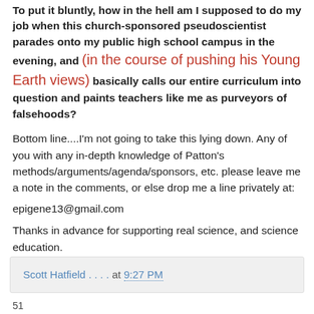To put it bluntly, how in the hell am I supposed to do my job when this church-sponsored pseudoscientist parades onto my public high school campus in the evening, and (in the course of pushing his Young Earth views) basically calls our entire curriculum into question and paints teachers like me as purveyors of falsehoods?
Bottom line....I'm not going to take this lying down. Any of you with any in-depth knowledge of Patton's methods/arguments/agenda/sponsors, etc. please leave me a note in the comments, or else drop me a line privately at:
epigene13@gmail.com
Thanks in advance for supporting real science, and science education.
Scott Hatfield . . . . at 9:27 PM